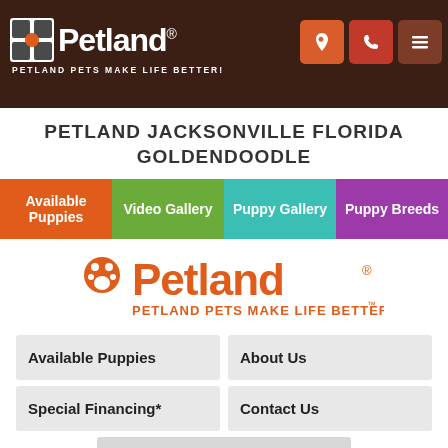Petland — PETLAND PETS MAKE LIFE BETTER!
PETLAND JACKSONVILLE FLORIDA GOLDENDOODLE
Available Puppies
Video Gallery
Puppy Gallery
Puppy Breeds
[Figure (logo): Petland logo with orange paw print icon and tagline PETLAND PETS MAKE LIFE BETTER!]
Available Puppies
About Us
Special Financing*
Contact Us
Privacy Policy
Need Help?